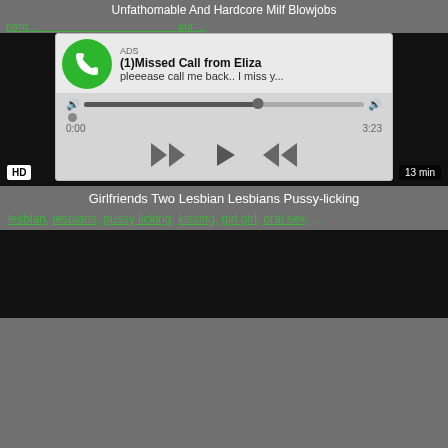Unfathomable And Hardcore Milf Blowjobs
hard... aur ...
[Figure (screenshot): Ad overlay showing a missed call notification from Eliza with audio player controls (rewind, play, fast-forward), progress bar, timestamps 0:00 and 3:23]
[Figure (screenshot): Video player with black background, HD badge bottom-left, 13 min badge bottom-right]
Girlfriends Two Lesbian Lesbians Pussy-licking
lesbian, lesbians, pussy licking, kissing, girl girl, oral sex, ...
[Figure (screenshot): Second video player with black background]